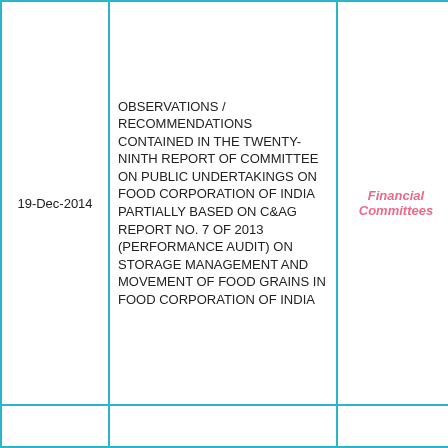| Date | Title | Category | Action |
| --- | --- | --- | --- |
| 19-Dec-2014 | OBSERVATIONS / RECOMMENDATIONS CONTAINED IN THE TWENTY-NINTH REPORT OF COMMITTEE ON PUBLIC UNDERTAKINGS ON FOOD CORPORATION OF INDIA PARTIALLY BASED ON C&AG REPORT NO. 7 OF 2013 (PERFORMANCE AUDIT) ON STORAGE MANAGEMENT AND MOVEMENT OF FOOD GRAINS IN FOOD CORPORATION OF INDIA | Financial Committees | View... |
|  |  |  |  |